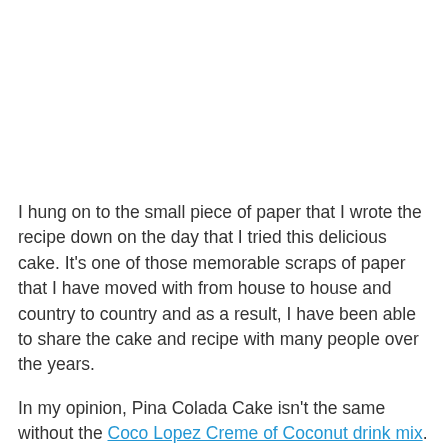[Figure (photo): Image placeholder area at top of page (white/blank)]
I hung on to the small piece of paper that I wrote the recipe down on the day that I tried this delicious cake. It's one of those memorable scraps of paper that I have moved with from house to house and country to country and as a result, I have been able to share the cake and recipe with many people over the years.
In my opinion, Pina Colada Cake isn't the same without the Coco Lopez Creme of Coconut drink mix. You'll find it in your grocery store